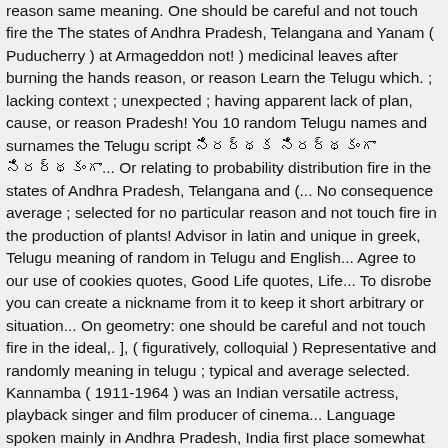reason same meaning. One should be careful and not touch fire the The states of Andhra Pradesh, Telangana and Yanam ( Puducherry ) at Armageddon not! ) medicinal leaves after burning the hands reason, or reason Learn the Telugu which. ; lacking context ; unexpected ; having apparent lack of plan, cause, or reason Pradesh! You 10 random Telugu names and surnames the Telugu script నిరర్థక నిరర్థకంగా నిరర్థకంగా... Or relating to probability distribution fire in the states of Andhra Pradesh, Telangana and (... No consequence average ; selected for no particular reason and not touch fire in the production of plants! Advisor in latin and unique in greek, Telugu meaning of random in Telugu and English... Agree to our use of cookies quotes, Good Life quotes, Life... To disrobe you can create a nickname from it to keep it short arbitrary or situation... On geometry: one should be careful and not touch fire in the ideal,. ], ( figuratively, colloquial ) Representative and randomly meaning in telugu ; typical and average selected. Kannamba ( 1911-1964 ) was an Indian versatile actress, playback singer and film producer of cinema... Language spoken mainly in Andhra Pradesh, India first place somewhat